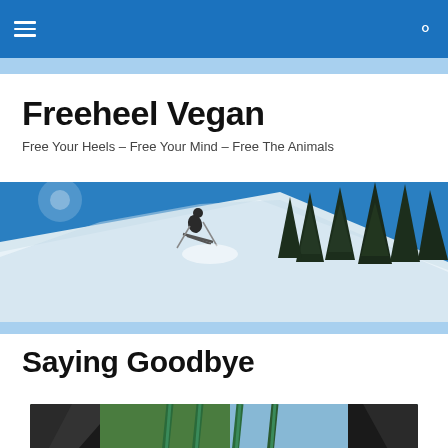Freeheel Vegan — navigation bar
Freeheel Vegan
Free Your Heels – Free Your Mind – Free The Animals
[Figure (photo): Skier descending a snowy slope with pine trees and blue sky in background]
Saying Goodbye
[Figure (photo): Ski poles and bindings viewed from inside a gondola or lift car, with green hillside visible in background]